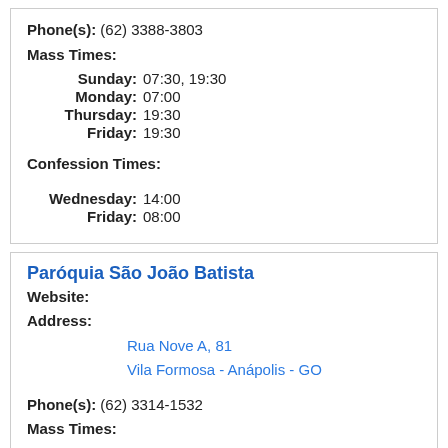Phone(s): (62) 3388-3803
Mass Times:
Sunday: 07:30, 19:30
Monday: 07:00
Thursday: 19:30
Friday: 19:30
Confession Times:
Wednesday: 14:00
Friday: 08:00
Paróquia São João Batista
Website:
Address:
Rua Nove A, 81
Vila Formosa - Anápolis - GO
Phone(s): (62) 3314-1532
Mass Times:
Sunday: 07:30, 09:00, 17:30, 19:00
Monday: 07:00, 19:00